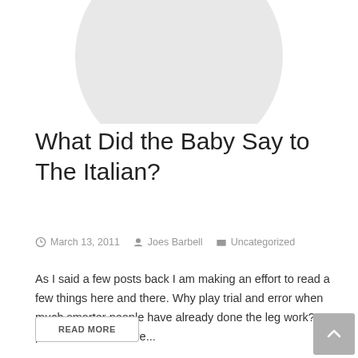[Figure (illustration): Circular avatar placeholder image in light gray]
What Did the Baby Say to The Italian?
March 13, 2011   Joes Barbell   Uncategorized
As I said a few posts back I am making an effort to read a few things here and there.  Why play trial and error when much smarter people have already done the leg work?  One particular book I have...
READ MORE